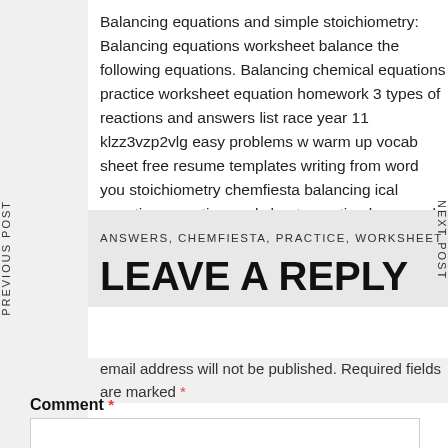Balancing equations and simple stoichiometry: Balancing equations worksheet balance the following equations. Balancing chemical equations practice worksheet equation homework 3 types of reactions and answers list race year 11 klzz3vzp2vlg easy problems w warm up vocab sheet free resume templates writing from word you stoichiometry chemfiesta balancing ical equations practice worksheet equation homework of reactions and equations.
PREVIOUS POST
NEXT POST
ANSWERS, CHEMFIESTA, PRACTICE, WORKSHEET
LEAVE A REPLY
email address will not be published. Required fields are marked *
Comment *